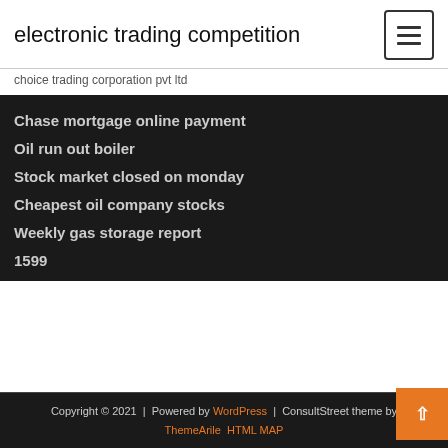electronic trading competition
choice trading corporation pvt ltd
Chase mortgage online payment
Oil run out boiler
Stock market closed on monday
Cheapest oil company stocks
Weekly gas storage report
1599
Copyright © 2021 | Powered by WordPress | ConsultStreet theme by ThemeArile HTML MAP